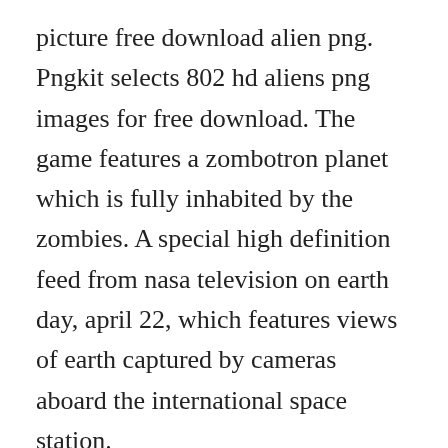picture free download alien png. Pngkit selects 802 hd aliens png images for free download. The game features a zombotron planet which is fully inhabited by the zombies. A special high definition feed from nasa television on earth day, april 22, which features views of earth captured by cameras aboard the international space station.
Space hd wallpapers, free wallpaper downloads, space hd. Download 1,024 space aliens stock photos for free or amazingly low rates. Free download game hotwired and gone